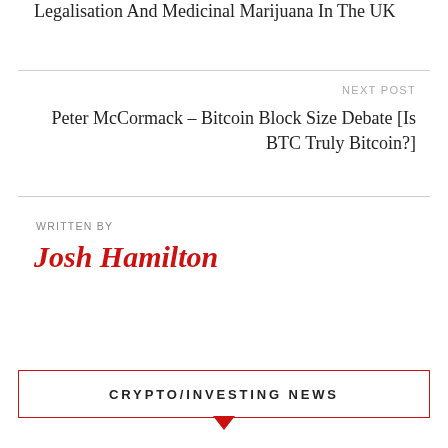Legalisation And Medicinal Marijuana In The UK
NEXT POST
Peter McCormack – Bitcoin Block Size Debate [Is BTC Truly Bitcoin?]
WRITTEN BY
Josh Hamilton
CRYPTO/INVESTING NEWS